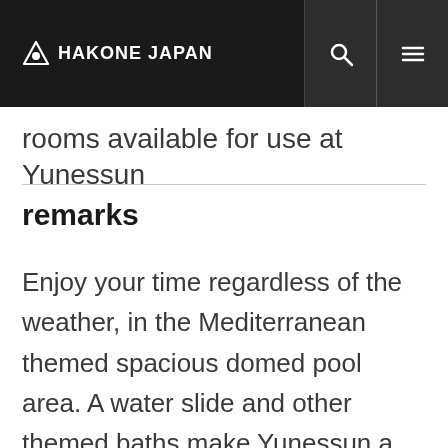HAKONE JAPAN
rooms available for use at Yunessun
remarks
Enjoy your time regardless of the weather, in the Mediterranean themed spacious domed pool area. A water slide and other themed baths make Yunessun a refreshing, relaxing, and enjoyable destination for all. The atmosphere is great for the enjoyment